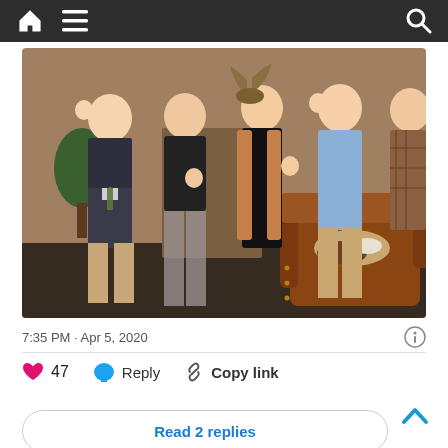Navigation bar with home, menu, and search icons
[Figure (photo): Group photo of five people standing indoors making hand signs, with a brown leather chair visible on the right. The setting appears to be an office or lobby with decorative dark walls and a plant.]
7:35 PM · Apr 5, 2020
47  Reply  Copy link
Read 2 replies